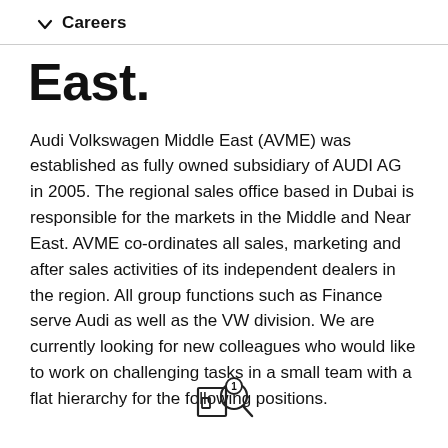Careers
East.
Audi Volkswagen Middle East (AVME) was established as fully owned subsidiary of AUDI AG in 2005. The regional sales office based in Dubai is responsible for the markets in the Middle and Near East. AVME co-ordinates all sales, marketing and after sales activities of its independent dealers in the region. All group functions such as Finance serve Audi as well as the VW division. We are currently looking for new colleagues who would like to work on challenging tasks in a small team with a flat hierarchy for the following positions.
[Figure (other): Search icon with number 1 badge]